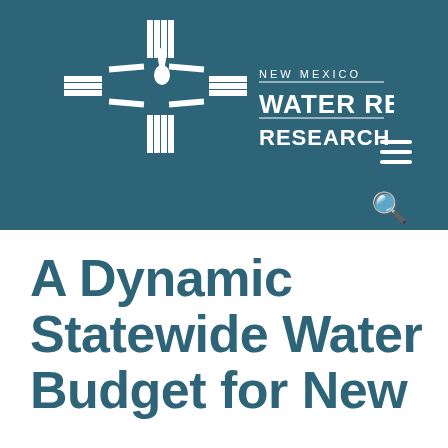[Figure (logo): New Mexico Water Resources Research Institute logo: a Zia sun symbol with a water droplet in the center and horizontal lines, with text 'NEW MEXICO WATER RESOURCES RESEARCH INSTITUTE' to the right]
A Dynamic Statewide Water Budget for New